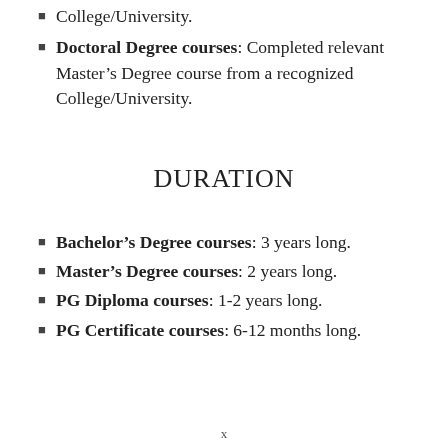Doctoral Degree courses: Completed relevant Master's Degree course from a recognized College/University.
DURATION
Bachelor's Degree courses: 3 years long.
Master's Degree courses: 2 years long.
PG Diploma courses: 1-2 years long.
PG Certificate courses: 6-12 months long.
x